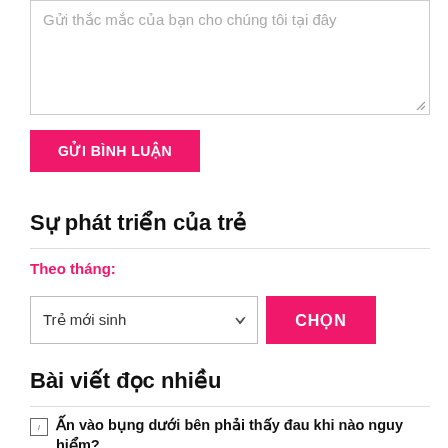[Figure (screenshot): Text area input box with placeholder text 'Gửi thắc mắc của bạn cho chúng tôi tại đây']
GỬI BÌNH LUẬN
Sự phát triển của trẻ
Theo tháng:
[Figure (screenshot): Dropdown selector showing 'Trẻ mới sinh' with a CHỌN button]
Bài viết đọc nhiều
Ấn vào bụng dưới bên phải thấy đau khi nào nguy hiểm?